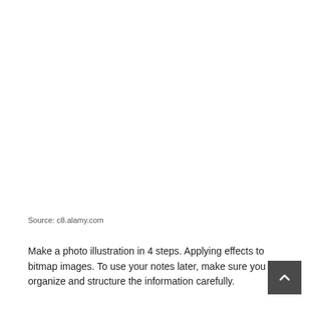Source: c8.alamy.com
Make a photo illustration in 4 steps. Applying effects to bitmap images. To use your notes later, make sure you organize and structure the information carefully.